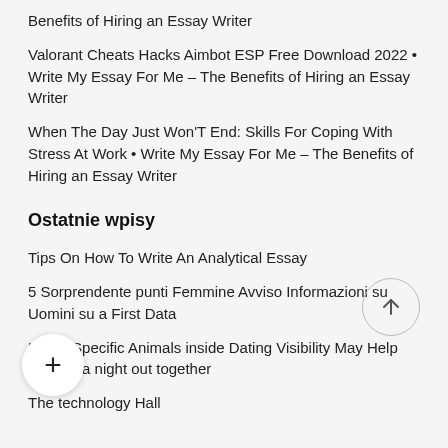Benefits of Hiring an Essay Writer
Valorant Cheats Hacks Aimbot ESP Free Download 2022 • Write My Essay For Me – The Benefits of Hiring an Essay Writer
When The Day Just Won'T End: Skills For Coping With Stress At Work • Write My Essay For Me – The Benefits of Hiring an Essay Writer
Ostatnie wpisy
Tips On How To Write An Analytical Essay
5 Sorprendente punti Femmine Avviso Informazioni su Uomini su a First Data
H__n Specific Animals inside Dating Visibility May Help __cure a night out together
The technology Hall